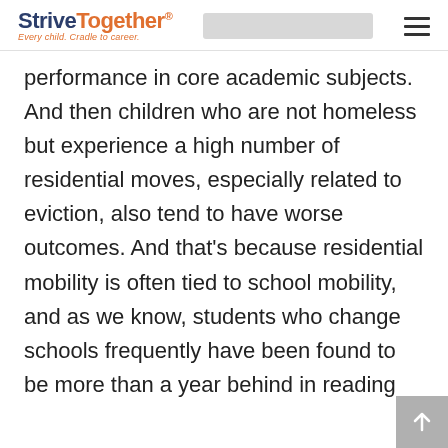StriveTogether® Every child. Cradle to career.
performance in core academic subjects. And then children who are not homeless but experience a high number of residential moves, especially related to eviction, also tend to have worse outcomes. And that's because residential mobility is often tied to school mobility, and as we know, students who change schools frequently have been found to be more than a year behind in reading